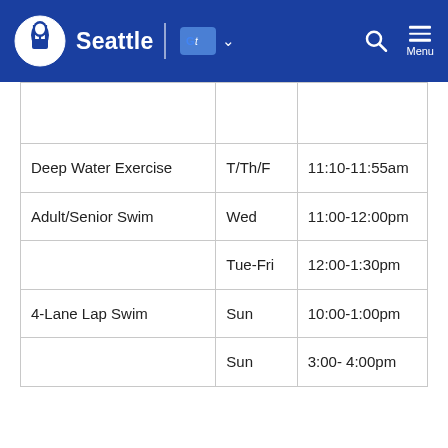Seattle — Government website header with logo, Google Translate button, search, and menu
|  |  |  |
| Deep Water Exercise | T/Th/F | 11:10-11:55am |
| Adult/Senior Swim | Wed | 11:00-12:00pm |
|  | Tue-Fri | 12:00-1:30pm |
| 4-Lane Lap Swim | Sun | 10:00-1:00pm |
|  | Sun | 3:00- 4:00pm |